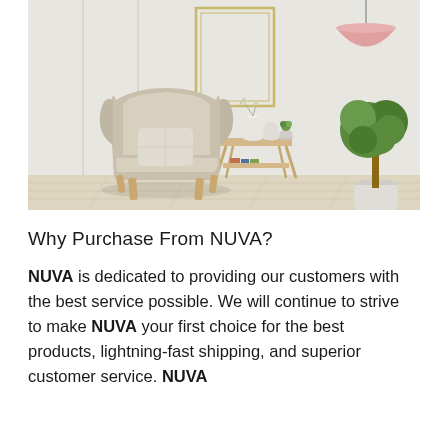[Figure (photo): A minimalist Scandinavian-style living room interior with a beige wingback armchair with a cushion, a small wooden side table with white ceramic vases and a small green plant, a large empty picture frame leaning against a white paneled wall, a hanging pink dome pendant lamp, and a potted green tree in a white pot on the right. Light wood flooring.]
Why Purchase From NUVA?
NUVA is dedicated to providing our customers with the best service possible. We will continue to strive to make NUVA your first choice for the best products, lightning-fast shipping, and superior customer service. NUVA